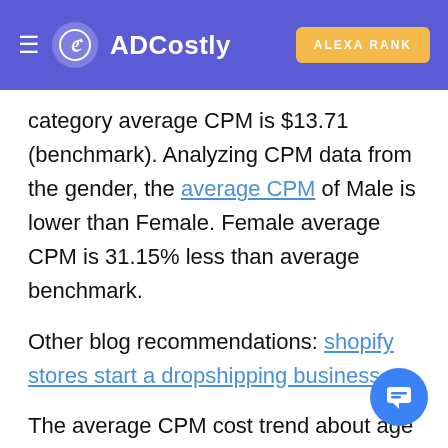ADCostly | ALEXA RANK
category average CPM is $13.71 (benchmark). Analyzing CPM data from the gender, the average CPM of Male is lower than Female. Female average CPM is 31.15% less than average benchmark.
Other blog recommendations: shopify stores start a dropshipping business.
The average CPM cost trend about age is similar to the CPC trend. The average CPM cost in the "65+" range is the highest, and the average CPM in the "25-34" age range ranks